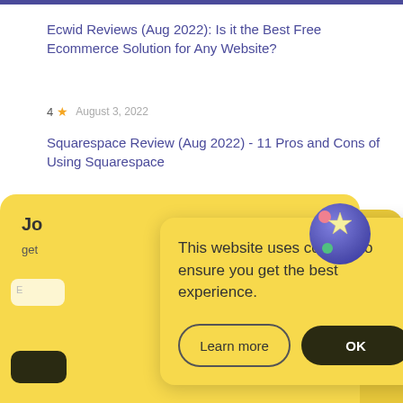Ecwid Reviews (Aug 2022): Is it the Best Free Ecommerce Solution for Any Website?
4 ★  August 3, 2022
Squarespace Review (Aug 2022) - 11 Pros and Cons of Using Squarespace
4 ★  August 1, 2022
This website uses cookies to ensure you get the best experience.
Learn more  OK